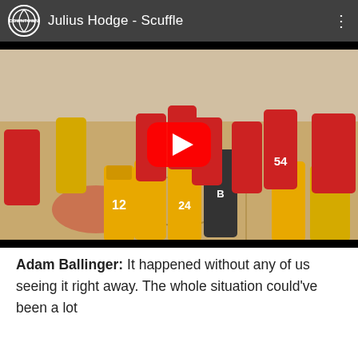[Figure (screenshot): YouTube video embed showing a basketball scuffle. Header bar with Downtown channel logo and title 'Julius Hodge - Scuffle' with three-dot menu. Video thumbnail shows players from two teams (red and yellow/orange jerseys) in a scuffle on a basketball court, with a large red YouTube play button overlay.]
Adam Ballinger: It happened without any of us seeing it right away. The whole situation could've been a lot